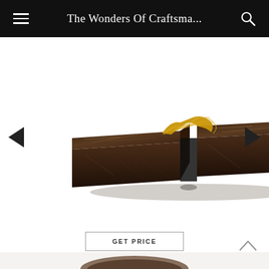The Wonders Of Craftsma...
[Figure (photo): A luxury coffee table made of dark brown/black veined marble (two rectangular marble blocks side by side with a brass/gold branch-like sculptural element connecting them at the top center), photographed on white background. Navigation arrows on left and right.]
GET PRICE